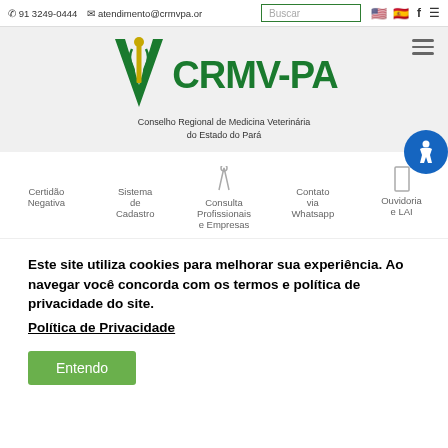91 3249-0444  atendimento@crmvpa.or...  Buscar
[Figure (logo): CRMV-PA logo with green V shape and caduceus symbol, text: CRMV-PA, Conselho Regional de Medicina Veterinária do Estado do Pará]
Certidão Negativa
Sistema de Cadastro
Consulta Profissionais e Empresas
Contato via Whatsapp
Ouvidoria e LAI
Este site utiliza cookies para melhorar sua experiência. Ao navegar você concorda com os termos e política de privacidade do site. Política de Privacidade
Entendo